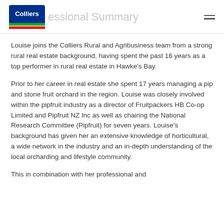Professional Summary
Louise joins the Colliers Rural and Agribusiness team from a strong rural real estate background, having spent the past 16 years as a top performer in rural real estate in Hawke's Bay.
Prior to her career in real estate she spent 17 years managing a pip and stone fruit orchard in the region. Louise was closely involved within the pipfruit industry as a director of Fruitpackers HB Co-op Limited and Pipfruit NZ Inc as well as chairing the National Research Committee (Pipfruit) for seven years. Louise's background has given her an extensive knowledge of horticultural, a wide network in the industry and an in-depth understanding of the local orcharding and lifestyle community.
This in combination with her professional and